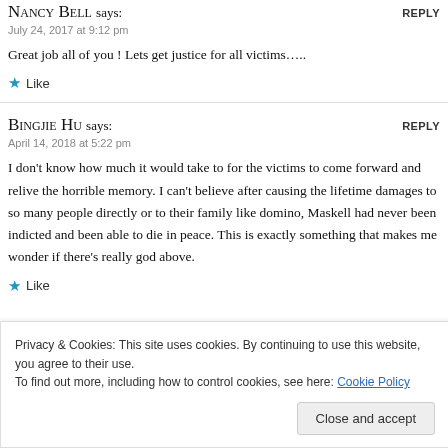NANCY BELL says:
July 24, 2017 at 9:12 pm
Great job all of you ! Lets get justice for all victims…..
Like
BINGJIE HU says:
April 14, 2018 at 5:22 pm
I don't know how much it would take to for the victims to come forward and relive the horrible memory. I can't believe after causing the lifetime damages to so many people directly or to their family like domino, Maskell had never been indicted and been able to die in peace. This is exactly something that makes me wonder if there's really god above.
Like
Privacy & Cookies: This site uses cookies. By continuing to use this website, you agree to their use.
To find out more, including how to control cookies, see here: Cookie Policy
Close and accept